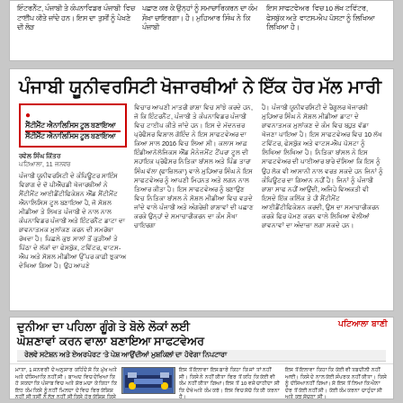ਇੰਟਰਨੈੱਟ, ਪੰਜਾਬੀ ਤੇ ਕੰਪਨਾਵਿਡਰ ਪੰਜਾਬੀ ਵਿਚ ਟਾਈਪ ਕੀਤੇ ਜਾਂਦੇ ਹਨ। ਇਸ ਦਾ ਤੁਸੀਂ ਨੂੰ ਪੇਖਣੇ ਦੀ ਲੋੜ
ਪਛਾਣ ਕਰ ਕੇ ਉਨ੍ਹਾਂ ਨੂੰ ਸਮਾਚਾਰਿਕਰਨ ਦਾ ਕੰਮ ਸੌਖਾ ਚਾਇਰਗਾ। ਹੈ। ਮੁਹਿਆਰ ਸਿੰਘ ਨੇ ਕਿ ਪੰਜਾਬੀ
ਇਸ ਸਾਫਟਵੇਅਰ ਵਿਚ 10 ਲੱਖ ਟਵਿੱਟਰ, ਫੇਸਬੁੱਕ ਅਤੇ ਵਾਟਸ-ਐਪ ਪੋਸਟਾ ਨੂੰ ਲਿਖਿਆ ਲਿਖਿਆ ਹੈ।
ਪੰਜਾਬੀ ਯੂਨੀਵਰਸਿਟੀ ਖੋਜਾਰਥੀਆਂ ਨੇ ਇੱਕ ਹੋਰ ਮੱਲ ਮਾਰੀ
ਸੈਂਟੀਮੈਂਟ ਐਨਾਲਿਸਿਸ ਟੂਲ ਬਣਾਇਆ
ਰਵੇਲ ਸਿੰਘ ਕਿੱਤਰ
ਪਟਿਆਲਾ, 11 ਜਨਵਰ
ਪੰਜਾਬੀ ਯੂਨੀਵਰਸਿਟੀ ਦੇ ਕੰਪਿਊਟਰ ਸਾਇੰਸ ਵਿਭਾਗ ਦੇ ਦੋ ਪੀਐੱਚਡੀ ਖੋਜਾਰਥੀਆਂ ਨੇ ਸੈਂਟੀਮੈਂਟ ਆਈਡੈਂਟੀਫਿਕੇਸ਼ਨ ਐਂਡ ਸੈਂਟੀਮੈਂਟ ਐਨਾਲਿਸਿਸ ਟੂਲ ਬਣਾਇਆ ਹੈ...
ਵਿਚਾਰ ਆਪਣੀ ਮਾਤਰੀ ਭਾਸ਼ਾ ਵਿਚ ਸਾਂਝੇ ਕਰਦੇ ਹਨ...
ਹੈ। ਪੰਜਾਬੀ ਯੂਨੀਵਰਸਿਟੀ ਦੇ ਰੈਗੂਲਰ ਖੋਜਾਰਥੀ ਮੁਹਿਆਰ ਸਿੰਘ ਨੇ ਸੋਸ਼ਲ ਮੀਡੀਆ ਡਾਟਾ ਦੇ ਭਾਵਨਾਤਮਕ ਮੁਲਾਂਕਣ ਦੇ ਕੰਮ ਵਿਚ ਬਹੁਤ ਵੱਡਾ ਖੋਜਣਾ ਪਾਇਆ ਹੈ...
ਦੁਨੀਆ ਦਾ ਪਹਿਲਾ ਗੂੰਗੇ ਤੇ ਬੋਲੇ ਲੋਕਾਂ ਲਈ ਘੋਸ਼ਣਾਵਾਂ ਕਰਨ ਵਾਲਾ ਬਣਾਇਆ ਸਾਫਟਵੇਅਰ
ਰੇਲਵੇ ਸਟੇਸ਼ਨ ਅਤੇ ਏਅਰਪੋਰਟ 'ਤੇ ਪੇਸ਼ ਆਉਂਦੀਆਂ ਮੁਸ਼ਕਿਲਾਂ ਦਾ ਹੋਵੇਗਾ ਨਿਪਟਾਰਾ
[Figure (photo): Newspaper clipping showing railway station and a cartoon person illustration related to the software for deaf and mute people]
ਇਸ ਦੀ ਤਸਵੀਰ ਦੇਖਣ ਲਈ ਇੱਥੇ ਕਲਿੱਕ ਕਰੋ
ਮਾਤਾ, 1 ਜਨਵਰੀ ਦੇ ਅਨੁਸਾਰ ਕਹਿੰਦੇ ਸੋ ਕਿ ਮੁੱਖ ਅਤੇ ਅਤੇ ਦੱਸਿਆ ਕਿ ਨਹੀਂ ਸੀ...
ਇਸ ਤੋਂ ਇਲਾਵਾ ਇਸ ਬਾਰੇ ਕਿਹਾ ਕਿ...
ਇਸ ਤੋਂ ਇਲਾਵਾ ਕਿਹਾ ਕਿ ਕੋਈ ਵੀ ਤਬਦੀਲੀ ਨਹੀਂ ਆਈ...